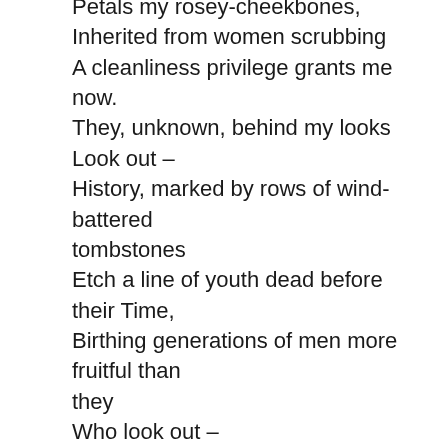Petals my rosey-cheekbones,
Inherited from women scrubbing
A cleanliness privilege grants me now.
They, unknown, behind my looks
Look out –
History, marked by rows of wind-battered tombstones
Etch a line of youth dead before their Time,
Birthing generations of men more fruitful than they
Who look out –
Hills, rolling like our shape, shadowed by
Scottish Pine, high, like our legs made for walking
Miles, and the stamina of a population
Striving to survive –
But that –